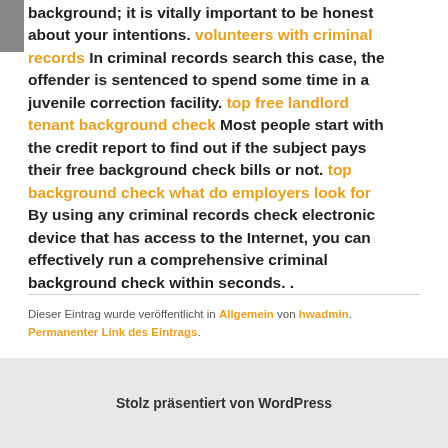background; it is vitally important to be honest about your intentions. volunteers with criminal records In criminal records search this case, the offender is sentenced to spend some time in a juvenile correction facility. top free landlord tenant background check Most people start with the credit report to find out if the subject pays their free background check bills or not. top background check what do employers look for By using any criminal records check electronic device that has access to the Internet, you can effectively run a comprehensive criminal background check within seconds. .
Dieser Eintrag wurde veröffentlicht in Allgemein von hwadmin. Permanenter Link des Eintrags.
Stolz präsentiert von WordPress